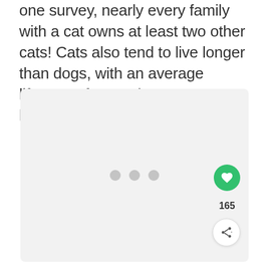one survey, nearly every family with a cat owns at least two other cats! Cats also tend to live longer than dogs, with an average lifespan of around 16 years, or longer!
[Figure (other): A light gray placeholder image box with three gray dots centered, indicating content loading. On the right side there is a green heart (like) button with a count of 165 and a share button below.]